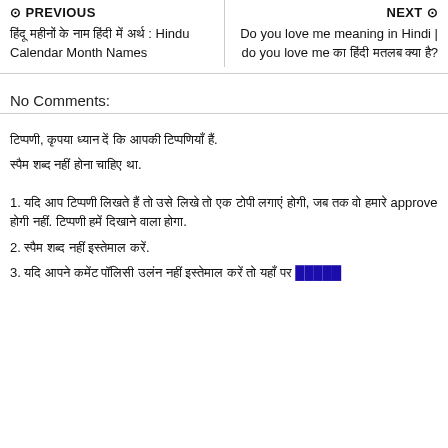⊙ PREVIOUS | NEXT ⊙
हिंदू महीनों के नाम हिंदी में अर्थ : Hindu Calendar Month Names
Do you love me meaning in Hindi | do you love me का हिंदी मतलब क्या है?
No Comments:
टिप्पणी, कृपया ध्यान दें कि आपकी टिप्पणियाँ हैं.
स्पैम शब्द नहीं होना चाहिए था.
1. यदि आप टिप्पणी लिखते हैं तो उसे लिखे तो एक टोपी लगाएं होगी, जब तक वो हमारे approve होगी नहीं. टिप्पणी हमें दिखाने वाला होगा.
2. स्पैम शब्द नहीं इस्तेमाल करें.
3. यदि आपने कमेंट पॉलिसी उलंन नहीं इस्तेमाल करें तो यहाँ पर